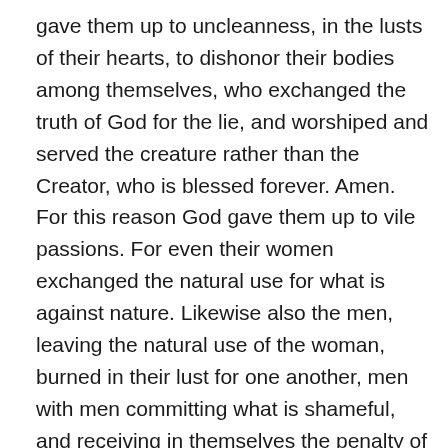gave them up to uncleanness, in the lusts of their hearts, to dishonor their bodies among themselves, who exchanged the truth of God for the lie, and worshiped and served the creature rather than the Creator, who is blessed forever. Amen. For this reason God gave them up to vile passions. For even their women exchanged the natural use for what is against nature. Likewise also the men, leaving the natural use of the woman, burned in their lust for one another, men with men committing what is shameful, and receiving in themselves the penalty of their error which was due. And even as they did not like to retain God in their knowledge, God gave them over to a debased mind, to do those things which are not fitting; being filled with all unrighteousness, sexual immorality, wickedness, covetousness, maliciousness; full of envy, murder, strife, deceit, evil-mindedness; they are